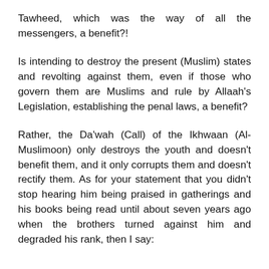Tawheed, which was the way of all the messengers, a benefit?!
Is intending to destroy the present (Muslim) states and revolting against them, even if those who govern them are Muslims and rule by Allaah's Legislation, establishing the penal laws, a benefit?
Rather, the Da'wah (Call) of the Ikhwaan (Al-Muslimoon) only destroys the youth and doesn't benefit them, and it only corrupts them and doesn't rectify them. As for your statement that you didn't stop hearing him being praised in gatherings and his books being read until about seven years ago when the brothers turned against him and degraded his rank, then I say: